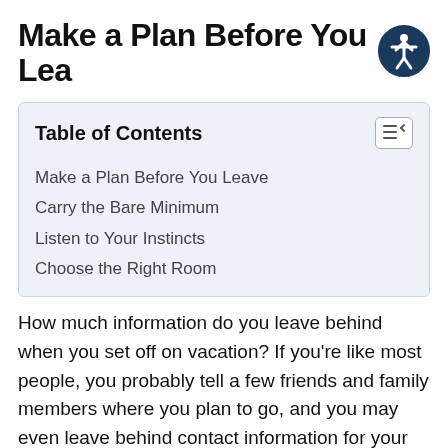Make a Plan Before You Lea
| Table of Contents |
| --- |
| Make a Plan Before You Leave |
| Carry the Bare Minimum |
| Listen to Your Instincts |
| Choose the Right Room |
How much information do you leave behind when you set off on vacation? If you're like most people, you probably tell a few friends and family members where you plan to go, and you may even leave behind contact information for your hotel. It's also important that you inform your loved ones of your plans, especially if you visit an area known for crime